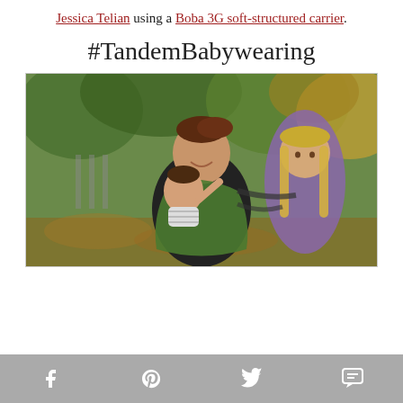Jessica Telian using a Boba 3G soft-structured carrier.
#TandemBabywearing
[Figure (photo): A woman smiling, carrying a baby in a green Boba soft-structured carrier on her front and a young girl with long blonde hair on her back, outdoors with autumn foliage in the background.]
Social share bar with Facebook, Pinterest, Twitter, and SMS icons